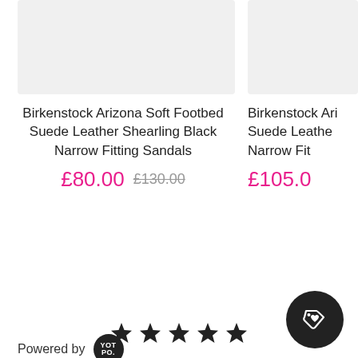[Figure (photo): Product image placeholder for Birkenstock Arizona sandals (left card), light grey rectangle]
Birkenstock Arizona Soft Footbed Suede Leather Shearling Black Narrow Fitting Sandals
£80.00 £130.00
[Figure (photo): Product image placeholder for second Birkenstock sandal (right card, cropped), light grey rectangle]
Birkenstock Ari... Suede Leathe... Narrow Fit...
£105.0...
Powered by YOT PO.
[Figure (other): Five empty star rating icons in gold/yellow outline]
[Figure (other): Dark circular tag/loyalty icon button]
[Figure (other): Five filled black star rating icons]